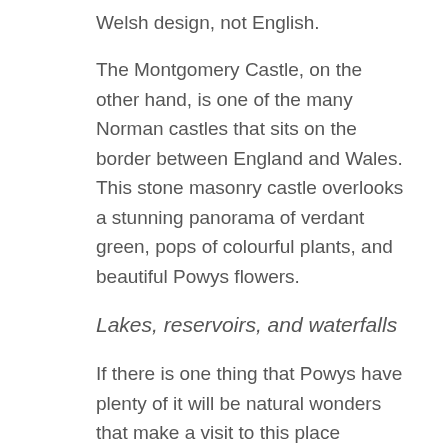Welsh design, not English.
The Montgomery Castle, on the other hand, is one of the many Norman castles that sits on the border between England and Wales. This stone masonry castle overlooks a stunning panorama of verdant green, pops of colourful plants, and beautiful Powys flowers.
Lakes, reservoirs, and waterfalls
If there is one thing that Powys have plenty of it will be natural wonders that make a visit to this place magical. Not everything is nature-made, however. The Elan Valley Reservoir, for example, is a chain of man-made lakes that resulted from the damming of the Elan and Claerwen rivers.
The Water Bowl it...